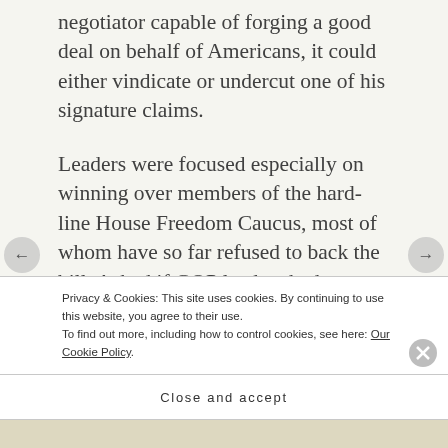negotiator capable of forging a good deal on behalf of Americans, it could either vindicate or undercut one of his signature claims.
Leaders were focused especially on winning over members of the hard-line House Freedom Caucus, most of whom have so far refused to back the bill. Asked if GOP leaders had secured the votes early Friday, House Majority
Privacy & Cookies: This site uses cookies. By continuing to use this website, you agree to their use.
To find out more, including how to control cookies, see here: Our Cookie Policy
Close and accept